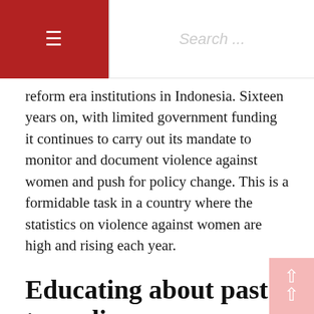☰  Search ...
reform era institutions in Indonesia. Sixteen years on, with limited government funding it continues to carry out its mandate to monitor and document violence against women and push for policy change. This is a formidable task in a country where the statistics on violence against women are high and rising each year.
Educating about past tragedies
According to Yuniyanti Chuzaifah, head of Komnas Perempuan from 2010 to 2014, an important part of Komnas Perempuan's role remains connected to its originating mandate: